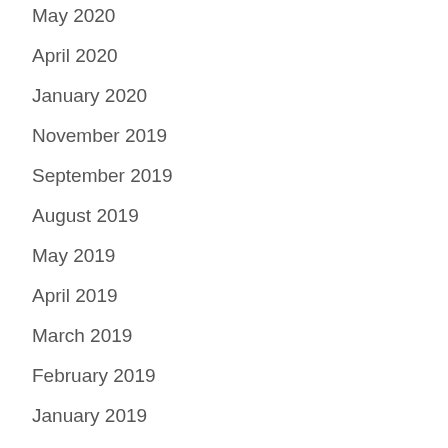May 2020
April 2020
January 2020
November 2019
September 2019
August 2019
May 2019
April 2019
March 2019
February 2019
January 2019
December 2018